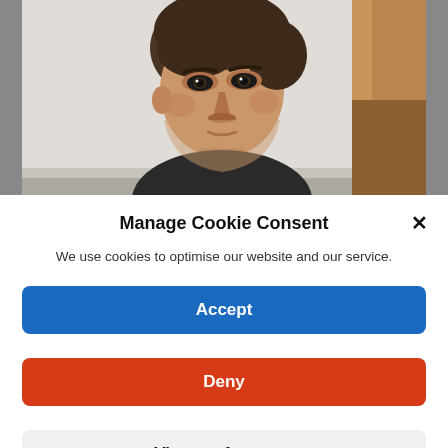[Figure (photo): A man with short brown hair, slightly furrowed brow, looking to the side against a light background with a wooden door frame visible on the right.]
Manage Cookie Consent
We use cookies to optimise our website and our service.
Accept
Deny
View preferences